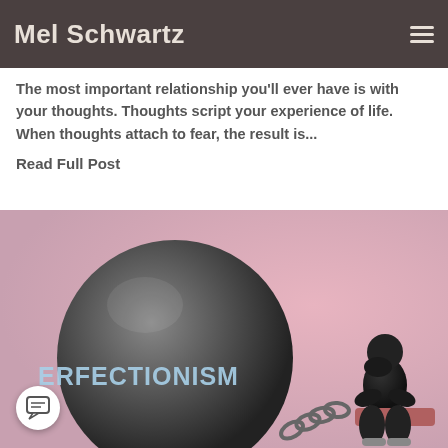Mel Schwartz
The most important relationship you'll ever have is with your thoughts. Thoughts script your experience of life. When thoughts attach to fear, the result is...
Read Full Post
[Figure (photo): A large dark metallic ball and chain with the word 'PERFECTIONISM' inscribed on it, chained to a dark figure sitting in a dejected pose on a ledge, against a pink/rose background.]